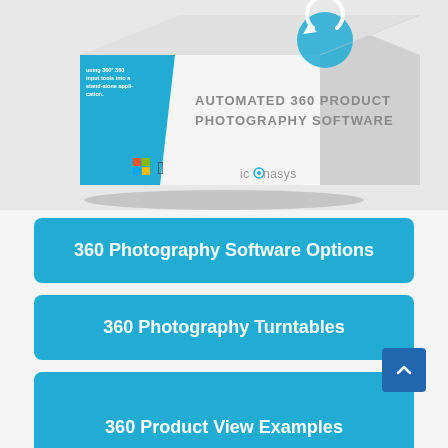[Figure (illustration): 3D software box for 'Automated 360 Product Photography Software' by iconasys, with blue and white design, Windows and Apple logos, shown on a light grey background.]
360 Photography Software Options
360 Photography Turntables
360 Product Photography Overview
360 Product View Examples